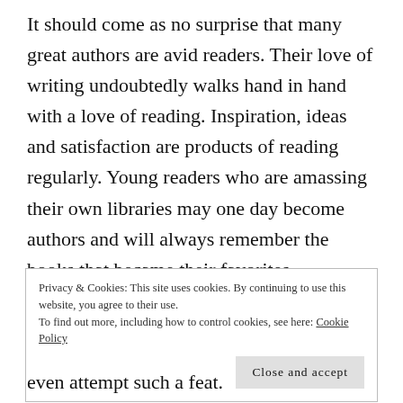It should come as no surprise that many great authors are avid readers. Their love of writing undoubtedly walks hand in hand with a love of reading. Inspiration, ideas and satisfaction are products of reading regularly. Young readers who are amassing their own libraries may one day become authors and will always remember the books that became their favorites. Personally, S.E. Hinton still stands tall and her
Privacy & Cookies: This site uses cookies. By continuing to use this website, you agree to their use.
To find out more, including how to control cookies, see here: Cookie Policy
even attempt such a feat.